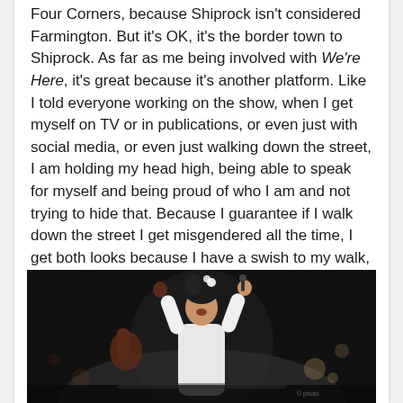Four Corners, because Shiprock isn't considered Farmington. But it's OK, it's the border town to Shiprock. As far as me being involved with We're Here, it's great because it's another platform. Like I told everyone working on the show, when I get myself on TV or in publications, or even just with social media, or even just walking down the street, I am holding my head high, being able to speak for myself and being proud of who I am and not trying to hide that. Because I guarantee if I walk down the street I get misgendered all the time, I get both looks because I have a swish to my walk, my heart is very big, and you can tell that I am a queen and I'm proud of it!"
[Figure (photo): A drag performer in a white outfit with black hair styled up, arms raised triumphantly, performing on stage with dramatic lighting and a dark background.]